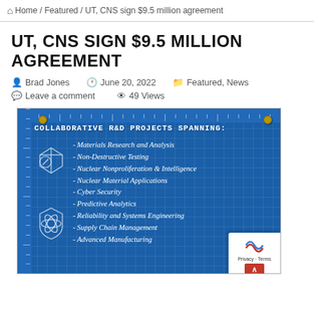Home / Featured / UT, CNS sign $9.5 million agreement
UT, CNS SIGN $9.5 MILLION AGREEMENT
Brad Jones   June 20, 2022   Featured, News   Leave a comment   49 Views
[Figure (infographic): Blueprint-style infographic on blue background listing collaborative R&D projects spanning: Materials Research and Analysis, Non-Destructive Testing, Nuclear Nonproliferation & Intelligence, Nuclear Material Applications, Cyber Security, Predictive Analytics, Reliability and Systems Engineering, Supply Chain Management, Advanced Manufacturing]